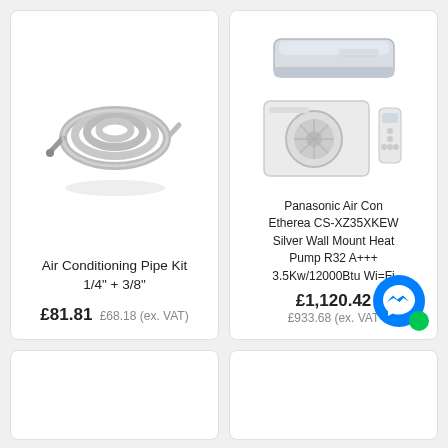[Figure (photo): Coiled grey air conditioning pipe kit with connectors]
Air Conditioning Pipe Kit 1/4" + 3/8"
£81.81  £68.18 (ex. VAT)
[Figure (photo): Panasonic Etherea CS-XZ35XKEW silver wall mount air conditioning unit with outdoor unit and remote control]
Panasonic Air Con Etherea CS-XZ35XKEW Silver Wall Mount Heat Pump R32 A+++ 3.5Kw/12000Btu Wi=Fi
£1,120.42  £933.68 (ex. VAT)